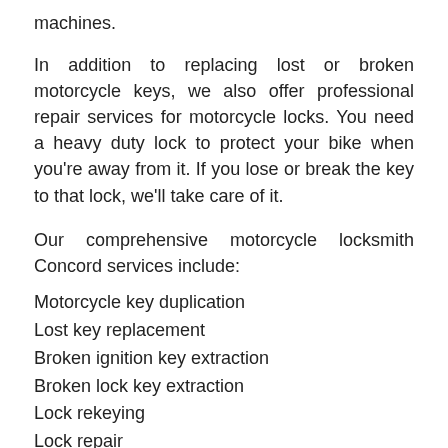machines.
In addition to replacing lost or broken motorcycle keys, we also offer professional repair services for motorcycle locks. You need a heavy duty lock to protect your bike when you're away from it. If you lose or break the key to that lock, we'll take care of it.
Our comprehensive motorcycle locksmith Concord services include:
Motorcycle key duplication
Lost key replacement
Broken ignition key extraction
Broken lock key extraction
Lock rekeying
Lock repair
Lock replacement
Our key and lock replacement service is suited to most makes and models of motorcycle, including: Harley-Davidson (we specialize in all Harley-Davidson Motorcycles, locks, keys and Fobs), Honda, Yamaha, Suzuki, Ducati and many more.
Mr. Locksmith Squamish